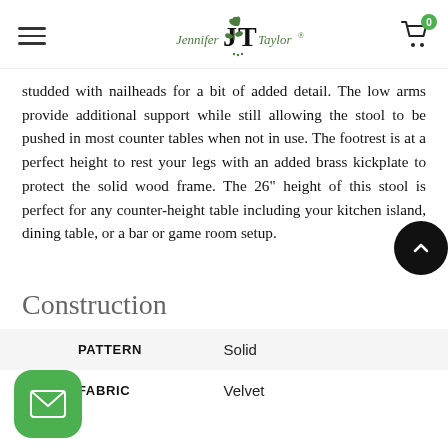Jennifer Taylor — navigation header with logo and cart
studded with nailheads for a bit of added detail. The low arms provide additional support while still allowing the stool to be pushed in most counter tables when not in use. The footrest is at a perfect height to rest your legs with an added brass kickplate to protect the solid wood frame. The 26" height of this stool is perfect for any counter-height table including your kitchen island, dining table, or a bar or game room setup.
Construction
|  |  |
| --- | --- |
| PATTERN | Solid |
| FABRIC | Velvet |